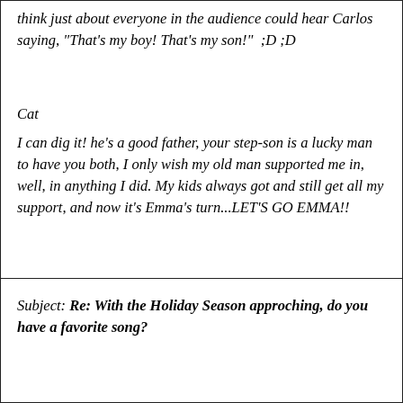think just about everyone in the audience could hear Carlos saying, "That's my boy! That's my son!"  ;D ;D
Cat
I can dig it! he's a good father, your step-son is a lucky man to have you both, I only wish my old man supported me in, well, in anything I did. My kids always got and still get all my support, and now it's Emma's turn...LET'S GO EMMA!!
Subject: Re: With the Holiday Season approching, do you have a favorite song?